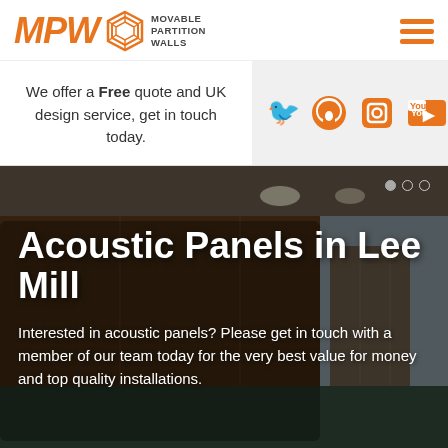[Figure (logo): MPW Movable Partition Walls logo with orange text and hexagonal icon]
We offer a Free quote and UK design service, get in touch today.
[Figure (infographic): Social media icons: Twitter, Pinterest, YouTube, Tumblr in orange]
Acoustic Panels in Lee Mill
Interested in acoustic panels? Please get in touch with a member of our team today for the very best value for money and top quality installations.